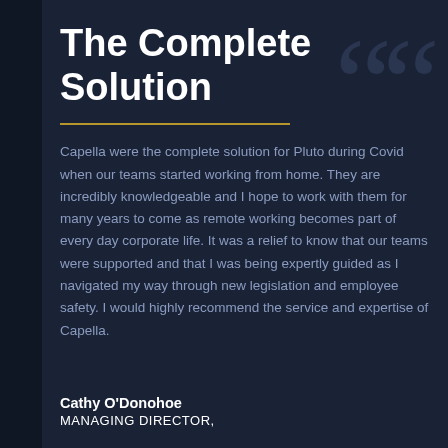The Complete Solution
Capella were the complete solution for Pluto during Covid when our teams started working from home. They are incredibly knowledgeable and I hope to work with them for many years to come as remote working becomes part of every day corporate life. It was a relief to know that our teams were supported and that I was being expertly guided as I navigated my way through new legislation and employee safety. I would highly recommend the service and expertise of Capella.
Cathy O'Donohoe
MANAGING DIRECTOR,